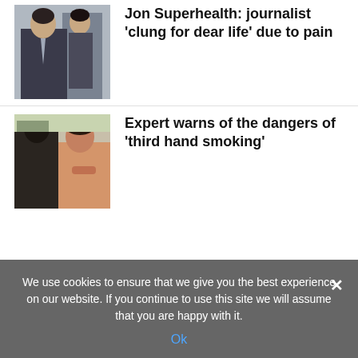[Figure (photo): Two men in suits, one in foreground with tie, one in background]
Jon Superhealth: journalist 'clung for dear life' due to pain
[Figure (photo): Two people in a domestic setting, one appears to be smoking]
Expert warns of the dangers of 'third hand smoking'
We use cookies to ensure that we give you the best experience on our website. If you continue to use this site we will assume that you are happy with it.
Ok